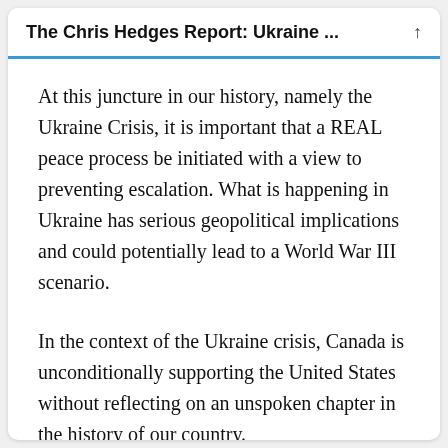The Chris Hedges Report: Ukraine ...
At this juncture in our history, namely the Ukraine Crisis, it is important that a REAL peace process be initiated with a view to preventing escalation. What is happening in Ukraine has serious geopolitical implications and could potentially lead to a World War III scenario.
In the context of the Ukraine crisis, Canada is unconditionally supporting the United States without reflecting on an unspoken chapter in the history of our country.